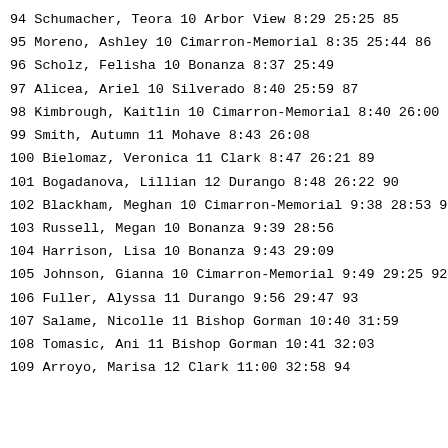94 Schumacher, Teora 10 Arbor View 8:29 25:25 85
95 Moreno, Ashley 10 Cimarron-Memorial 8:35 25:44 86
96 Scholz, Felisha 10 Bonanza 8:37 25:49
97 Alicea, Ariel 10 Silverado 8:40 25:59 87
98 Kimbrough, Kaitlin 10 Cimarron-Memorial 8:40 26:00 8
99 Smith, Autumn 11 Mohave 8:43 26:08
100 Bielomaz, Veronica 11 Clark 8:47 26:21 89
101 Bogadanova, Lillian 12 Durango 8:48 26:22 90
102 Blackham, Meghan 10 Cimarron-Memorial 9:38 28:53 91
103 Russell, Megan 10 Bonanza 9:39 28:56
104 Harrison, Lisa 10 Bonanza 9:43 29:09
105 Johnson, Gianna 10 Cimarron-Memorial 9:49 29:25 92
106 Fuller, Alyssa 11 Durango 9:56 29:47 93
107 Salame, Nicolle 11 Bishop Gorman 10:40 31:59
108 Tomasic, Ani 11 Bishop Gorman 10:41 32:03
109 Arroyo, Marisa 12 Clark 11:00 32:58 94